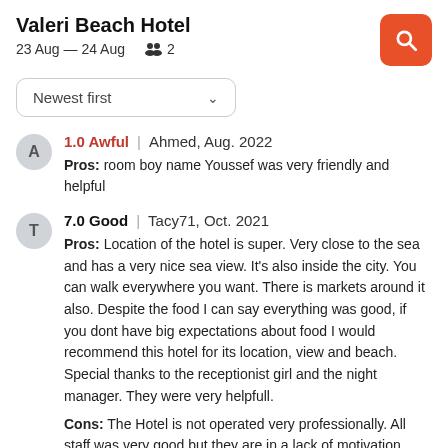Valeri Beach Hotel
23 Aug — 24 Aug  👥 2
Newest first
1.0 Awful | Ahmed, Aug. 2022
Pros: room boy name Youssef was very friendly and helpful
7.0 Good | Tacy71, Oct. 2021
Pros: Location of the hotel is super. Very close to the sea and has a very nice sea view. It's also inside the city. You can walk everywhere you want. There is markets around it also. Despite the food I can say everything was good, if you dont have big expectations about food I would recommend this hotel for its location, view and beach. Special thanks to the receptionist girl and the night manager. They were very helpfull.
Cons: The Hotel is not operated very professionally. All staff was very good but they are in a lack of motivation. Food quality was not very good. All our stay lunch-dinner we ate the same things and they serve chicken too often. I hope they solve these problems for next year.